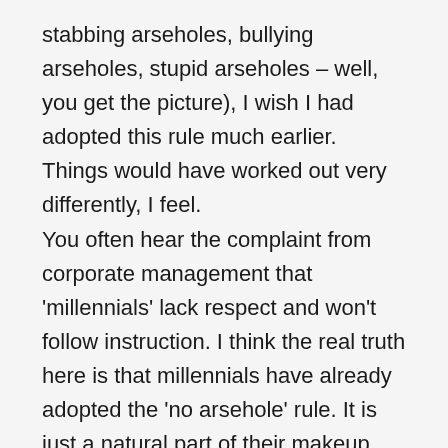stabbing arseholes, bullying arseholes, stupid arseholes – well, you get the picture), I wish I had adopted this rule much earlier. Things would have worked out very differently, I feel.
You often hear the complaint from corporate management that 'millennials' lack respect and won't follow instruction. I think the real truth here is that millennials have already adopted the 'no arsehole' rule. It is just a natural part of their makeup, like incessantly using social media and never deciding what they are doing more than 5 minutes in advance. They simply won't put up with the bullshit that the generations before them did. They won't work for the arseholes that we did because, well, they don't have to. In fact, they have a naturally low tolerance for arseholery of any sorts.
Which makes it very difficult for an arsehole to manage